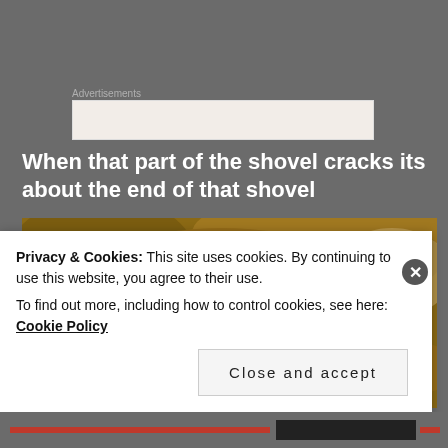Advertisements
[Figure (photo): Close-up photo of a cracked metal shovel blade covered in soil and white residue, showing damage at the blade socket area]
When that part of the shovel cracks its about the end of that shovel
Privacy & Cookies: This site uses cookies. By continuing to use this website, you agree to their use.
To find out more, including how to control cookies, see here: Cookie Policy
Close and accept